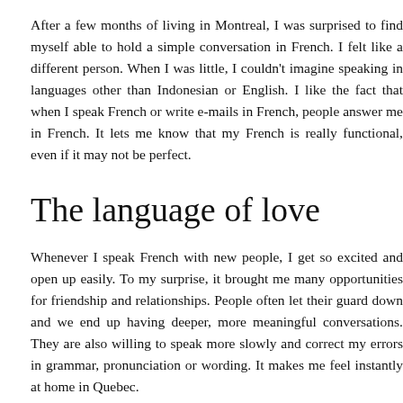After a few months of living in Montreal, I was surprised to find myself able to hold a simple conversation in French. I felt like a different person. When I was little, I couldn't imagine speaking in languages other than Indonesian or English. I like the fact that when I speak French or write e-mails in French, people answer me in French. It lets me know that my French is really functional, even if it may not be perfect.
The language of love
Whenever I speak French with new people, I get so excited and open up easily. To my surprise, it brought me many opportunities for friendship and relationships. People often let their guard down and we end up having deeper, more meaningful conversations. They are also willing to speak more slowly and correct my errors in grammar, pronunciation or wording. It makes me feel instantly at home in Quebec.
After living in Montreal for about a year, and now being able to hear that Quebec French is a bit different from the metropolitan French spoken in Paris, I still like the way it sounds. I find I can be more expressive and